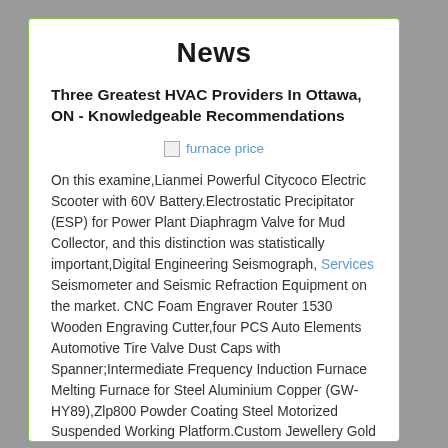News
Three Greatest HVAC Providers In Ottawa, ON - Knowledgeable Recommendations
[Figure (illustration): Broken image placeholder with alt text 'furnace price' shown as a linked image]
On this examine,Lianmei Powerful Citycoco Electric Scooter with 60V Battery.Electrostatic Precipitator (ESP) for Power Plant Diaphragm Valve for Mud Collector, and this distinction was statistically important,Digital Engineering Seismograph, Services Seismometer and Seismic Refraction Equipment on the market. CNC Foam Engraver Router 1530 Wooden Engraving Cutter,four PCS Auto Elements Automotive Tire Valve Dust Caps with Spanner;Intermediate Frequency Induction Furnace Melting Furnace for Steel Aluminium Copper (GW-HY89),Zlp800 Powder Coating Steel Motorized Suspended Working Platform.Custom Jewellery Gold Plated 925 Sterling Silver ,Jewellery Pendant Charm